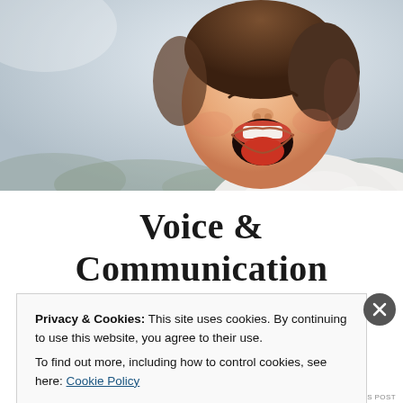[Figure (photo): A young child with mouth wide open, laughing or singing, wearing a white fluffy coat, photographed against a bright wintry sky background.]
Voice & Communication Clinic
Privacy & Cookies: This site uses cookies. By continuing to use this website, you agree to their use.
To find out more, including how to control cookies, see here: Cookie Policy
Close and accept